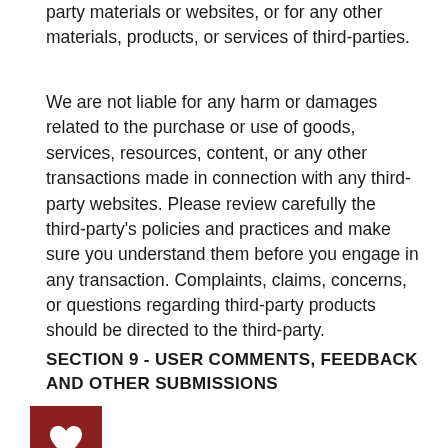party materials or websites, or for any other materials, products, or services of third-parties.
We are not liable for any harm or damages related to the purchase or use of goods, services, resources, content, or any other transactions made in connection with any third-party websites. Please review carefully the third-party's policies and practices and make sure you understand them before you engage in any transaction. Complaints, claims, concerns, or questions regarding third-party products should be directed to the third-party.
SECTION 9 - USER COMMENTS, FEEDBACK AND OTHER SUBMISSIONS
[Figure (illustration): Dark red square button with a white heart icon in the center]